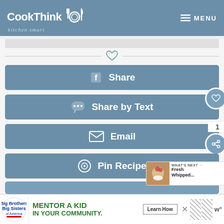CookThink kitchen smart — MENU
[Figure (screenshot): Social sharing buttons panel: Share (Facebook), Share by Text, Email, Pin Recipe, with floating heart, number 1, and share icons on the right side]
[Figure (infographic): What's Next promo box showing Fresh Whipped... recipe thumbnail]
[Figure (infographic): Big Brothers Big Sisters advertisement: MENTOR A KID IN YOUR COMMUNITY. Learn How button]